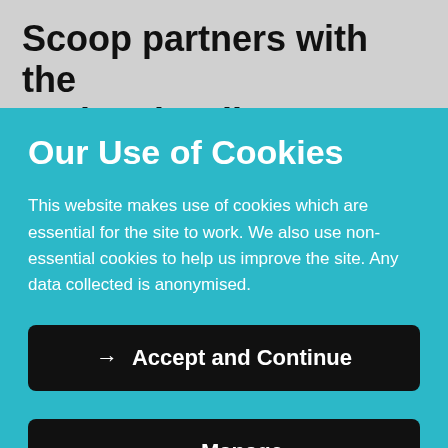Scoop partners with the National Gallery Company to
Our Use of Cookies
This website makes use of cookies which are essential for the site to work. We also use non-essential cookies to help us improve the site. Any data collected is anonymised.
→  Accept and Continue
→  Manage
The range consists of seven gift sets released under the National Gallery's Delicious Art brand.
The range also lets the swallower of high quality food